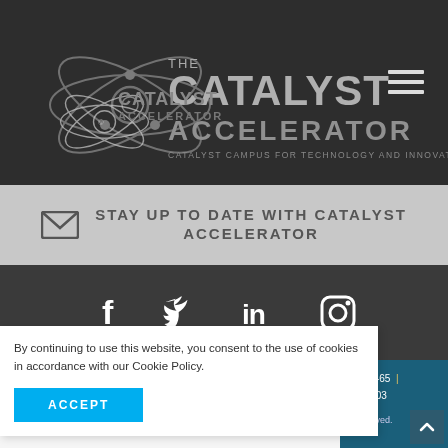[Figure (logo): The Catalyst Accelerator logo with atom icon on dark background, subtitle: Catalyst Campus for Technology and Innovation]
STAY UP TO DATE WITH CATALYST ACCELERATOR
[Figure (infographic): Social media icons: Facebook, Twitter, LinkedIn, Instagram on dark background]
By continuing to use this website, you consent to the use of cookies in accordance with our Cookie Policy.
ACCEPT
247-5465 | 0, 80903
s reserved.